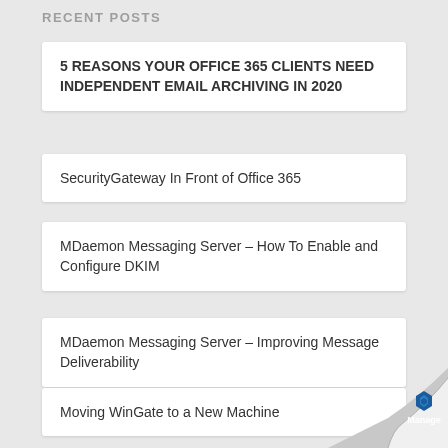RECENT POSTS
5 REASONS YOUR OFFICE 365 CLIENTS NEED INDEPENDENT EMAIL ARCHIVING IN 2020
SecurityGateway In Front of Office 365
MDaemon Messaging Server – How To Enable and Configure DKIM
MDaemon Messaging Server – Improving Message Deliverability
Moving WinGate to a New Machine
[Figure (logo): Manage Engine logo with blue hexagonal icon and 'Manage' text on a page-curl graphic in the bottom right corner]